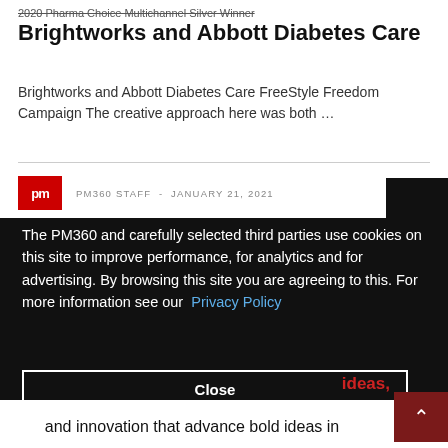2020 Pharma Choice Multichannel Silver Winner Brightworks and Abbott Diabetes Care
Brightworks and Abbott Diabetes Care FreeStyle Freedom Campaign The creative approach here was both …
PM360 STAFF - JANUARY 21, 2021
The PM360 and carefully selected third parties use cookies on this site to improve performance, for analytics and for advertising. By browsing this site you are agreeing to this. For more information see our Privacy Policy
Close
ideas,
and innovation that advance bold ideas in